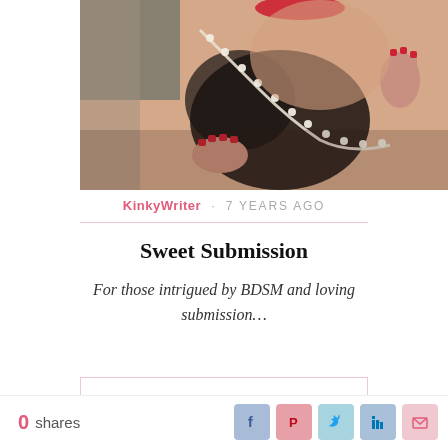[Figure (photo): Close-up photo of a woman wearing a red blindfold/mask and black lingerie, holding a pearl necklace near her lips, with red nail polish visible]
KinkyWriter · 7 YEARS AGO
Sweet Submission
For those intrigued by BDSM and loving submission…
0 shares